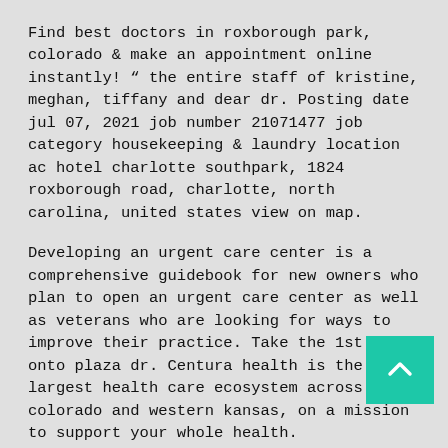Find best doctors in roxborough park, colorado & make an appointment online instantly! " the entire staff of kristine, meghan, tiffany and dear dr. Posting date jul 07, 2021 job number 21071477 job category housekeeping & laundry location ac hotel charlotte southpark, 1824 roxborough road, charlotte, north carolina, united states view on map.
Developing an urgent care center is a comprehensive guidebook for new owners who plan to open an urgent care center as well as veterans who are looking for ways to improve their practice. Take the 1st left onto plaza dr. Centura health is the largest health care ecosystem across colorado and western kansas, on a mission to support your whole health.
Wound care in roxborough park on yp.com. Urgent care, medical centers, family practice. Find the best urgent care locations in roxborough park, co and book online today.
Cannon, made me feel at home and quickly took care of my needs. Most of our facilities are open 365 days a year, and